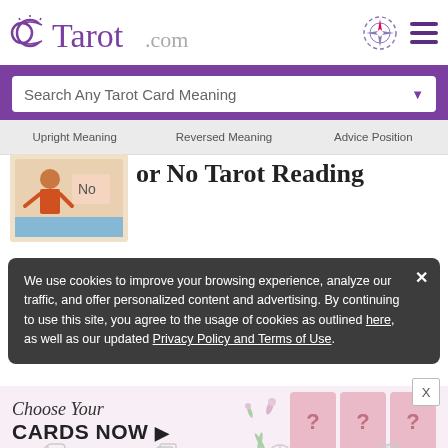Tarot.com
Search Any Tarot Card Meaning
Upright Meaning   Reversed Meaning   Advice Position
or No Tarot Reading
Find Lasting Love with a Soulmate Tarot Reading
We use cookies to improve your browsing experience, analyze our traffic, and offer personalized content and advertising. By continuing to use this site, you agree to the usage of cookies as outlined here, as well as our updated Privacy Policy and Terms of Use.
[Figure (infographic): Advertisement: Choose Your CARDS NOW with question mark tarot cards]
Readings   Cards & Decks   Birth Chart   Keen Reading